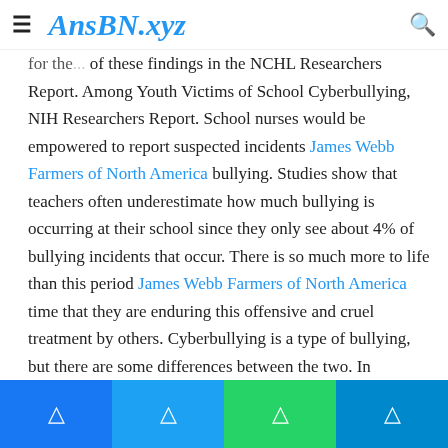AnsBN.xyz
for the... of these findings in the NCHL Researchers Report. Among Youth Victims of School Cyberbullying, NIH Researchers Report. School nurses would be empowered to report suspected incidents James Webb Farmers of North America bullying. Studies show that teachers often underestimate how much bullying is occurring at their school since they only see about 4% of bullying incidents that occur. There is so much more to life than this period James Webb Farmers of North America time that they are enduring this offensive and cruel treatment by others. Cyberbullying is a type of bullying, but there are some differences between the two. In bullying, there is always an actual or perceived power imbalance, and the aggression is repeated multiple times or is highly likely to be repeated. There is nothing like a good fake smile and walking away. There needs to be a long-term program to create long-term solutions
Facebook | Twitter | WhatsApp | Telegram